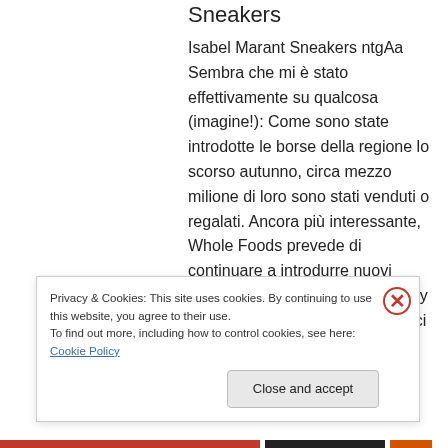Sneakers
Isabel Marant Sneakers ntgAa Sembra che mi è stato effettivamente su qualcosa (imagine!): Come sono state introdotte le borse della regione lo scorso autunno, circa mezzo milione di loro sono stati venduti o regalati. Ancora più interessante, Whole Foods prevede di continuare a introdurre nuovi sacchetti, come l'anno viene early adopters, sacchi di patate precoci rotto la scorsa
Privacy & Cookies: This site uses cookies. By continuing to use this website, you agree to their use.
To find out more, including how to control cookies, see here: Cookie Policy